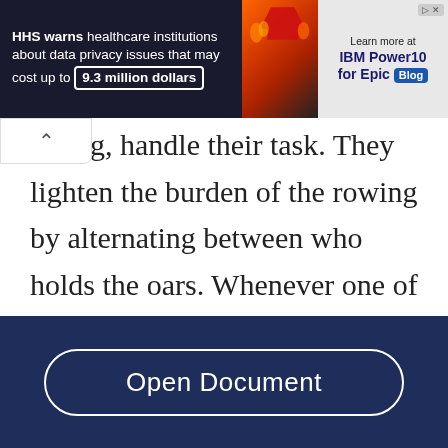[Figure (screenshot): Advertisement banner. Left: HHS warns healthcare institutions about data privacy issues that may cost up to 9.3 million dollars. Center: image of man with burning money and red arrow. Right: Learn more at IBM Power10 for Epic Blog.]
owing, handle their task. They lighten the burden of the rowing by alternating between who holds the oars. Whenever one of them is tired, he asks the other to spell him. When someone is so dependent on another human being, consequently a deeper, emotional bond will form itself as well. The captain contemplates the brotherhood they have formed as a genuine friendship, stating that “it was
[Figure (screenshot): Open Document button on dark navy blue background]